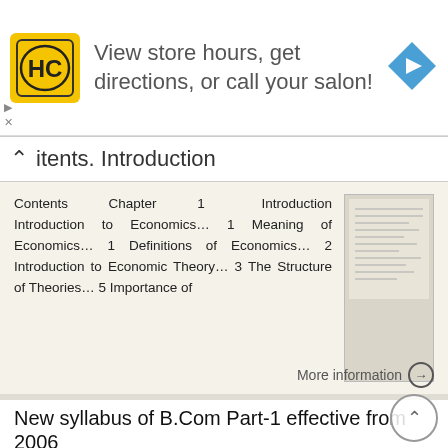[Figure (screenshot): Advertisement banner: HC salon logo, text 'View store hours, get directions, or call your salon!', blue navigation arrow icon]
Contents. Introduction
Contents Chapter 1 Introduction Introduction to Economics… 1 Meaning of Economics… 1 Definitions of Economics… 2 Introduction to Economic Theory… 3 The Structure of Theories… 5 Importance of
More information →
New syllabus of B.Com Part-1 effective from 2006
New syllabus of B.Com Part-1 effective from 2006 ECONOMIC ANALYSIS AND POLICY MICRO ECONOMICS 2 questions, 40 Marks CHAPTER 1 1NTRODUCTION 1 Basic concepts 2 Definition 2 Micro and macro approach to